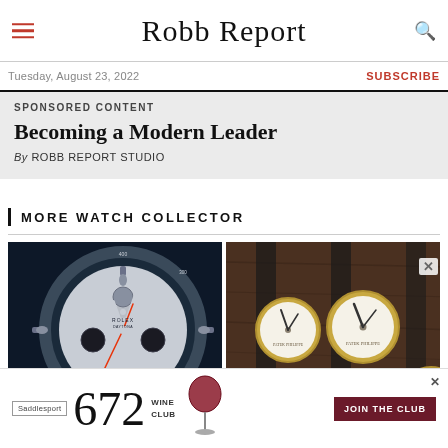Robb Report
Tuesday, August 23, 2022
SUBSCRIBE
SPONSORED CONTENT
Becoming a Modern Leader
By ROBB REPORT STUDIO
MORE WATCH COLLECTOR
[Figure (photo): Close-up of a Rolex Daytona watch face with chronograph subdials on dark background]
[Figure (photo): Three gold watches with leather straps laid on wooden surface]
[Figure (infographic): Advertisement for Saddlesport 672 Wine Club with Join the Club button]